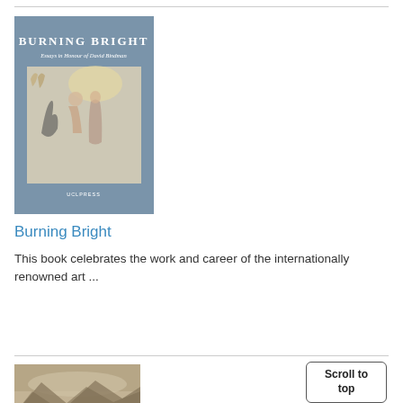[Figure (photo): Book cover of 'Burning Bright: Essays in Honour of David Bindman' with a blue-grey cover featuring a classical illustration of figures]
Burning Bright
This book celebrates the work and career of the internationally renowned art ...
[Figure (photo): Partial view of a second book cover showing a sepia-toned mountainous landscape photograph]
Scroll to top